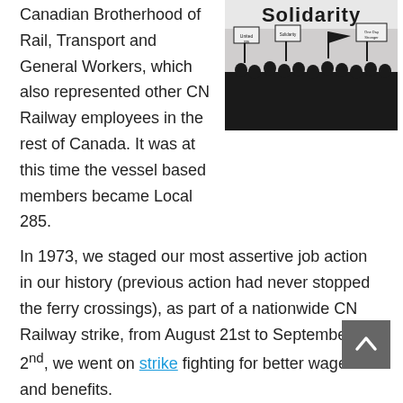Canadian Brotherhood of Rail, Transport and General Workers, which also represented other CN Railway employees in the rest of Canada. It was at this time the vessel based members became Local 285.
[Figure (photo): Black and white photo showing silhouettes of workers holding picket signs with 'Solidarity' text visible at the top. Signs include union-related text.]
In 1973, we staged our most assertive job action in our history (previous action had never stopped the ferry crossings), as part of a nationwide CN Railway strike, from August 21st to September 2nd, we went on strike fighting for better wages and benefits.
There is very little documentation of this strike, but the memory is still strong in many of our retiree's. While there